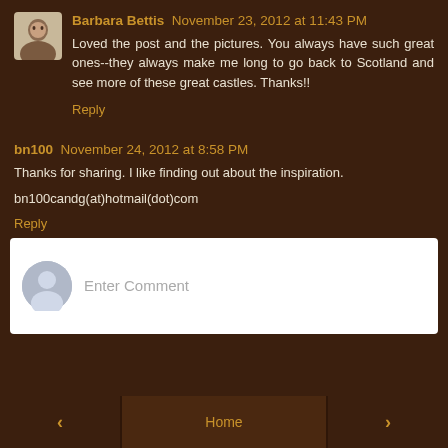Barbara Bettis  November 23, 2012 at 11:43 PM
Loved the post and the pictures. You always have such great ones--they always make me long to go back to Scotland and see more of these great castles. Thanks!!
Reply
bn100  November 24, 2012 at 8:58 PM
Thanks for sharing. I like finding out about the inspiration.
bn100candg(at)hotmail(dot)com
Reply
Enter Comment
Home